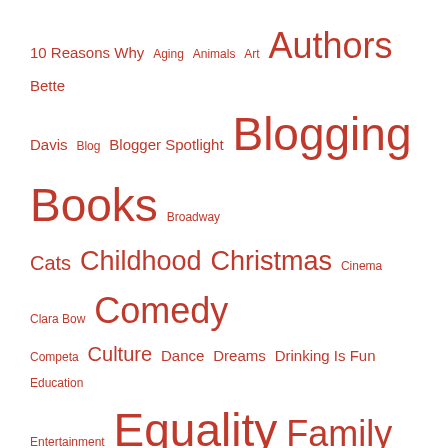[Figure (infographic): Tag cloud with terms related to a blog, shown in various font sizes in dark red. Terms include: 10 Reasons Why, Aging, Animals, Art, Authors, Bette Davis, Blog, Blogger Spotlight, Blogging, Books, Broadway, Cats, Childhood, Christmas, Cinema, Clara Bow, Comedy, Competa, Culture, Dance, Dreams, Drinking Is Fun, Education, Entertainment, Equality, Family, Fashion, Fiction, Film, Flash Fiction, Food, Halloween, History, Holidays, Hollywood, Hope, Horror, Humor, Hypocrisy, Indie Authors, Joan Crawford, Katharine Hepburn, LGBT, Life, Malaga, Movies, Music, Mystery, NaNoWriMo, Networking, New Orleans, Nostalgia, Oklahoma, Opinion, Photography, Poetry]